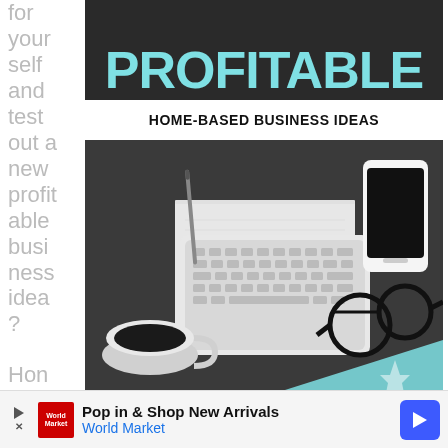for your self and test out a new profitable business idea?
[Figure (illustration): Book cover showing 'PROFITABLE HOME-BASED BUSINESS IDEAS' with a flat-lay photo of a desk with keyboard, coffee cup, glasses, smartphone, and a notebook on a dark background.]
Pop in & Shop New Arrivals World Market